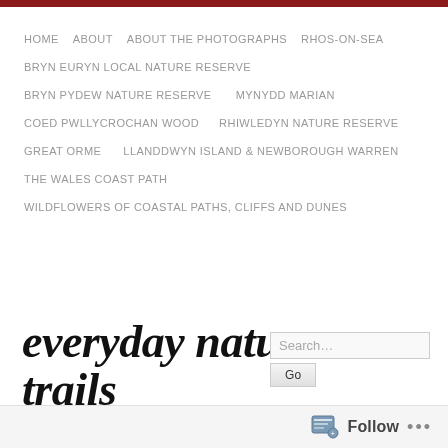HOME   ABOUT   ABOUT THE PHOTOGRAPHS   RHOS-ON-SEA   BRYN EURYN LOCAL NATURE RESERVE   BRYN PYDEW NATURE RESERVE   MYNYDD MARIAN   COED PWLLYCROCHAN WOOD   RHIWLEDYN NATURE RESERVE   GREAT ORME   LLANDDWYN ISLAND & NEWBOROUGH WARREN   THE WALES COAST PATH   WILDFLOWERS OF COASTAL PATHS, CLIFFS AND DUNES
everyday nature trails
[Figure (screenshot): Search box with text 'Search...' and a Go button]
[Figure (photo): Narrow strip of nature/greenery photo at bottom]
Follow ...